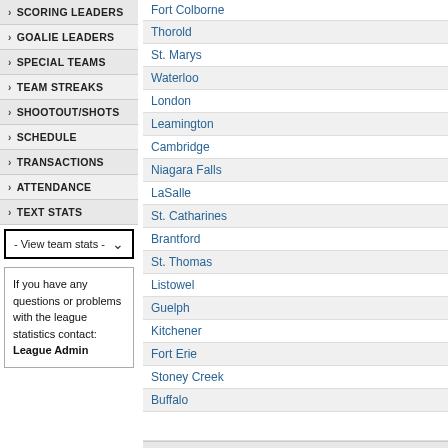SCORING LEADERS
GOALIE LEADERS
SPECIAL TEAMS
TEAM STREAKS
SHOOTOUT/SHOTS
SCHEDULE
TRANSACTIONS
ATTENDANCE
TEXT STATS
- View team stats -
If you have any questions or problems with the league statistics contact:
League Admin
| Team |
| --- |
| Fort Colborne |
| Thorold |
| St. Marys |
| Waterloo |
| London |
| Leamington |
| Cambridge |
| Niagara Falls |
| LaSalle |
| St. Catharines |
| Brantford |
| St. Thomas |
| Listowel |
| Guelph |
| Kitchener |
| Fort Erie |
| Stoney Creek |
| Buffalo |
| TOT... |